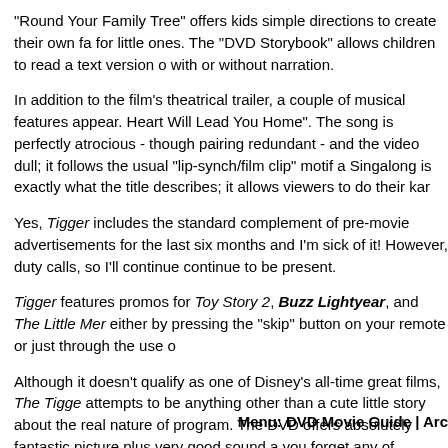"Round Your Family Tree" offers kids simple directions to create their own fa for little ones. The "DVD Storybook" allows children to read a text version o with or without narration.
In addition to the film's theatrical trailer, a couple of musical features appear. Heart Will Lead You Home". The song is perfectly atrocious - though pairing redundant - and the video dull; it follows the usual "lip-synch/film clip" motif a Singalong is exactly what the title describes; it allows viewers to do their kar
Yes, Tigger includes the standard complement of pre-movie advertisements for the last six months and I'm sick of it! However, duty calls, so I'll continue continue to be present.
Tigger features promos for Toy Story 2, Buzz Lightyear, and The Little Mer either by pressing the "skip" button on your remote or just through the use o
Although it doesn't qualify as one of Disney's all-time great films, The Tigge attempts to be anything other than a cute little story about the real nature of program. The DVD offers absolutely fantastic picture plus very good sound a you forget any of Disney's real classics, but it's a fun little experience nonet
Menu: DVD Movie Guide | Arc